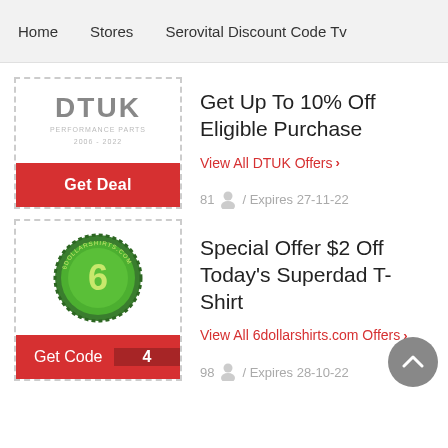Home   Stores   Serovital Discount Code Tv
[Figure (logo): DTUK performance parts logo with dashed border and Get Deal red button]
Get Up To 10% Off Eligible Purchase
View All DTUK Offers >
81  /  Expires 27-11-22
[Figure (logo): 6dollarshirts.com green badge logo with number 6, dashed border and Get Code red button with code count 4]
Special Offer $2 Off Today's Superdad T-Shirt
View All 6dollarshirts.com Offers >
98  /  Expires 28-10-22